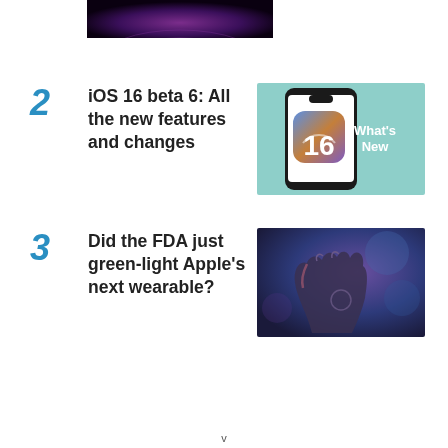[Figure (photo): Partial top image showing a dark background with purple/violet concentric ring design]
2 iOS 16 beta 6: All the new features and changes
[Figure (photo): iPhone showing iOS 16 app icon with 'What's New' text on teal background]
3 Did the FDA just green-light Apple's next wearable?
[Figure (photo): Hand making a pinching gesture against dark blue/purple blurred background]
v